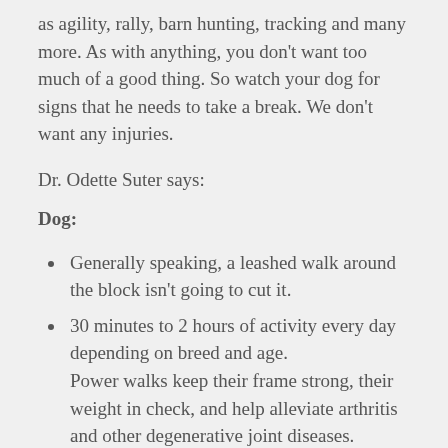as agility, rally, barn hunting, tracking and many more. As with anything, you don't want too much of a good thing. So watch your dog for signs that he needs to take a break. We don't want any injuries.
Dr. Odette Suter says:
Dog:
Generally speaking, a leashed walk around the block isn't going to cut it.
30 minutes to 2 hours of activity every day depending on breed and age. Power walks keep their frame strong, their weight in check, and help alleviate arthritis and other degenerative joint diseases.